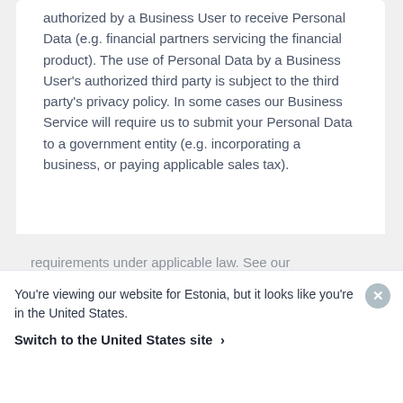authorized by a Business User to receive Personal Data (e.g. financial partners servicing the financial product). The use of Personal Data by a Business User's authorized third party is subject to the third party's privacy policy. In some cases our Business Service will require us to submit your Personal Data to a government entity (e.g. incorporating a business, or paying applicable sales tax).
Advertising. With your permission or where allowed by applicable law, we use and share
You're viewing our website for Estonia, but it looks like you're in the United States.
Switch to the United States site ›
requirements under applicable law. See our